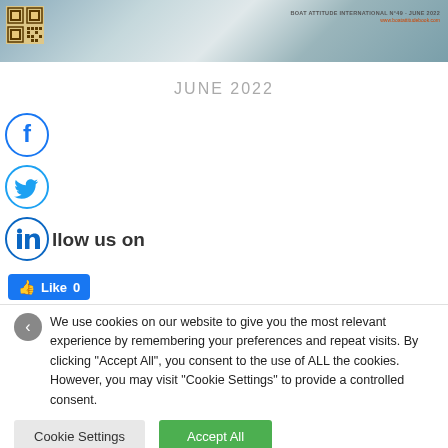[Figure (photo): Top banner image of white water rapids with a QR code in the top-left corner and text 'BOAT ATTITUDE INTERNATIONAL N°49 - JUNE 2022' and URL 'www.boatattitudebook.com' in the top-right corner]
JUNE 2022
[Figure (logo): Facebook circular icon (letter f in blue circle)]
[Figure (logo): Twitter circular icon (bird logo in blue circle)]
[Figure (logo): LinkedIn circular icon (in letters in blue circle) with text 'llow us on' beside it]
Like 0
We use cookies on our website to give you the most relevant experience by remembering your preferences and repeat visits. By clicking "Accept All", you consent to the use of ALL the cookies. However, you may visit "Cookie Settings" to provide a controlled consent.
Cookie Settings
Accept All